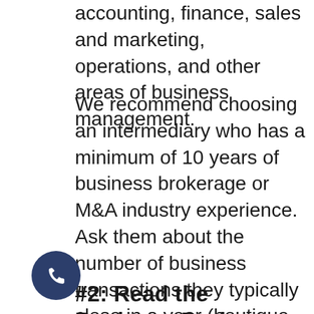accounting, finance, sales and marketing, operations, and other areas of business management.
We recommend choosing an intermediary who has a minimum of 10 years of business brokerage or M&A industry experience. Ask them about the number of business transactions they typically close in a year (boutique firms tend to work with four to six clients at a time). They should also have a proven process that gets results, including a marketing plan for representing your business to qualified buyers.
[Figure (other): Dark blue circular phone/call button icon]
#2: Read the Business Broker